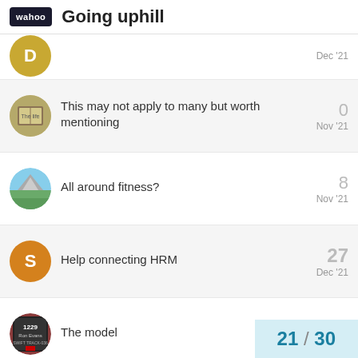wahoo  Going uphill
[D avatar] [cropped title] Dec '21  [reply count cropped]
This may not apply to many but worth mentioning  0  Nov '21
All around fitness?  8  Nov '21
Help connecting HRM  27  Dec '21
The model  3  Feb 6
Want to read more? Browse all categories or view latest topics.
21 / 30